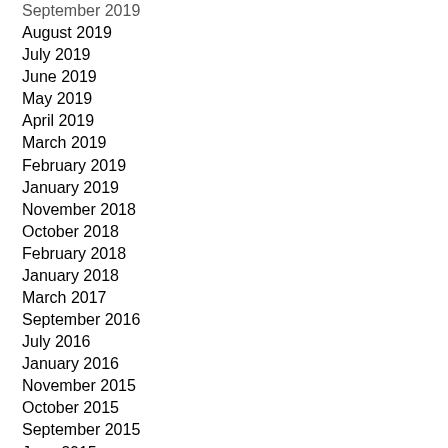September 2019
August 2019
July 2019
June 2019
May 2019
April 2019
March 2019
February 2019
January 2019
November 2018
October 2018
February 2018
January 2018
March 2017
September 2016
July 2016
January 2016
November 2015
October 2015
September 2015
June 2015